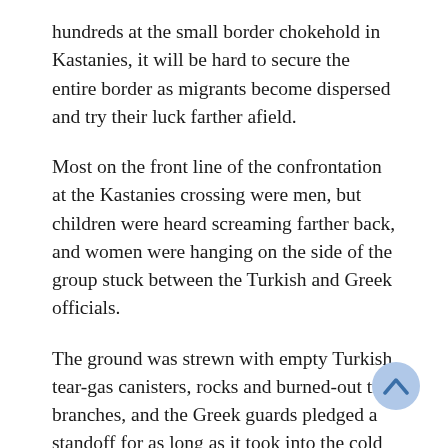hundreds at the small border chokehold in Kastanies, it will be hard to secure the entire border as migrants become dispersed and try their luck farther afield.
Most on the front line of the confrontation at the Kastanies crossing were men, but children were heard screaming farther back, and women were hanging on the side of the group stuck between the Turkish and Greek officials.
The ground was strewn with empty Turkish tear-gas canisters, rocks and burned-out tree branches, and the Greek guards pledged a standoff for as long as it took into the cold night and beyond.
Greece “came under an illegal, mass and orchestrated attempt to raze our borders and stood up protecting not only our frontiers, but those of Europe too,” said Stelios Petsas, the Greek government spokesman. He added that 66 migrants had been arrested crossing the